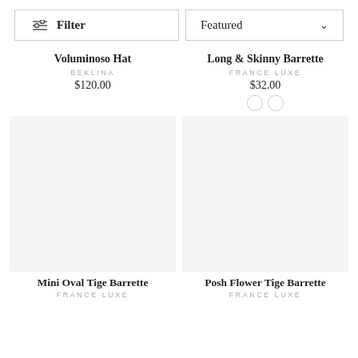Filter | Featured
Voluminoso Hat
BEKLINA
$120.00
Long & Skinny Barrette
FRANCE LUXE
$32.00
[Figure (other): Empty product image area for Voluminoso Hat]
[Figure (other): Empty product image area for Long & Skinny Barrette]
Mini Oval Tige Barrette
FRANCE LUXE
Posh Flower Tige Barrette
FRANCE LUXE